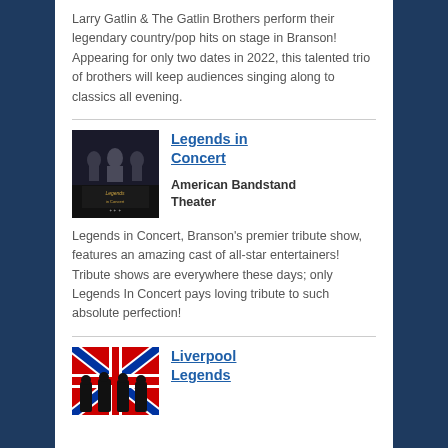Larry Gatlin & The Gatlin Brothers perform their legendary country/pop hits on stage in Branson! Appearing for only two dates in 2022, this talented trio of brothers will keep audiences singing along to classics all evening.
[Figure (photo): Legends in Concert promotional image with performers on dark background and gold text logo]
Legends in Concert
American Bandstand Theater
Legends in Concert, Branson's premier tribute show, features an amazing cast of all-star entertainers! Tribute shows are everywhere these days; only Legends In Concert pays loving tribute to such absolute perfection!
[Figure (photo): Liverpool Legends promotional image with performers in front of British Union Jack flag]
Liverpool Legends